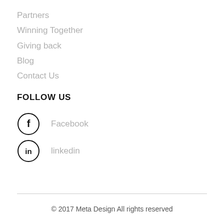Partners
Winning Together
Giving back
Blog
Contact Us
FOLLOW US
Facebook
linkedin
© 2017 Meta Design All rights reserved